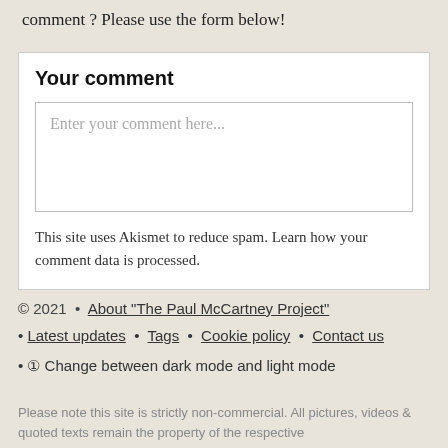comment ? Please use the form below!
Your comment
Enter your comment here...
This site uses Akismet to reduce spam. Learn how your comment data is processed.
© 2021  •  About “The Paul McCartney Project”
Latest updates  •  Tags  •  Cookie policy  •  Contact us
① Change between dark mode and light mode
Please note this site is strictly non-commercial. All pictures, videos & quoted texts remain the property of the respective